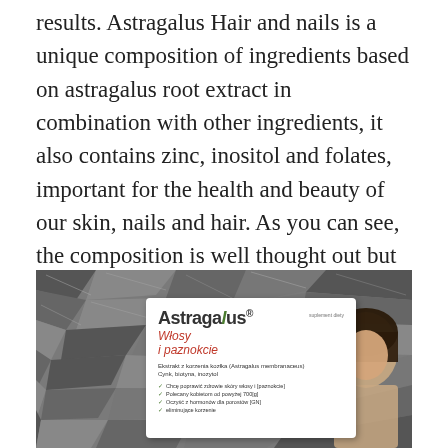results. Astragalus Hair and nails is a unique composition of ingredients based on astragalus root extract in combination with other ingredients, it also contains zinc, inositol and folates, important for the health and beauty of our skin, nails and hair. As you can see, the composition is well thought out but also very rich, so I had a very good feeling about these pills from the very beginning. If you want to see how this monthly treatment worked for me,
[Figure (photo): Product photo showing Astragalus Hair and Nails supplement box placed on a bed of dark rocky stones, with a partial view of a woman's face with dark hair in the background.]